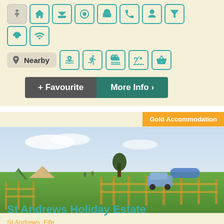[Figure (infographic): Row of teal amenity icons in boxes: person/accessibility, tent, swimming/water, life ring, caravan/parking, telephone/info, camera/photo, car/transport]
[Figure (infographic): Two teal icons in boxes: football/sports, wifi signal]
[Figure (infographic): Nearby label with location pin icon, followed by teal icons: beach/waves, cycling, fishing/activity, swimming/beach, shopping basket]
[Figure (infographic): Two buttons: dark grey '+ Favourite' button and teal 'More Info >' button]
Gold Accommodation
[Figure (photo): Outdoor camping field with green grass, tents of various sizes and colors, a wooden fence, a small tree, a parked car, and blue sky with light clouds]
St Andrews Holiday Estate
St Andrews, Fife